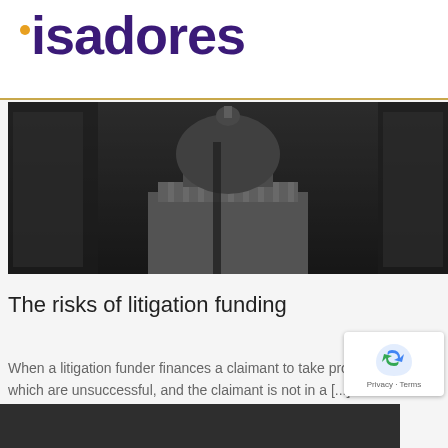isadores
[Figure (photo): Black and white photo of a classical domed building (resembling St Paul's Cathedral) viewed from below between glass and steel modern structures]
The risks of litigation funding
When a litigation funder finances a claimant to take proceedings, which are unsuccessful, and the claimant is not in a [...]
[Figure (photo): Partial bottom strip of a dark photo, likely another architectural or legal themed image]